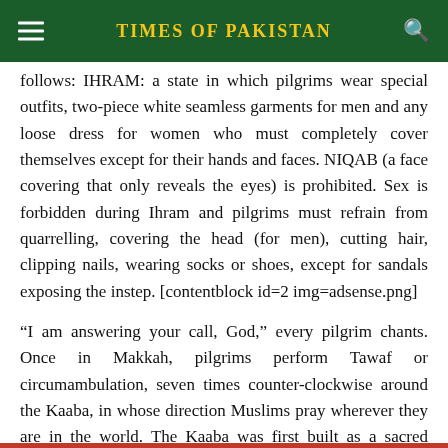TIMES OF PAKISTAN
follows: IHRAM: a state in which pilgrims wear special outfits, two-piece white seamless garments for men and any loose dress for women who must completely cover themselves except for their hands and faces. NIQAB (a face covering that only reveals the eyes) is prohibited. Sex is forbidden during Ihram and pilgrims must refrain from quarrelling, covering the head (for men), cutting hair, clipping nails, wearing socks or shoes, except for sandals exposing the instep. [contentblock id=2 img=adsense.png]
“I am answering your call, God,” every pilgrim chants. Once in Makkah, pilgrims perform Tawaf or circumambulation, seven times counter-clockwise around the Kaaba, in whose direction Muslims pray wherever they are in the world. The Kaaba was first built as a sacred house in Makkah by